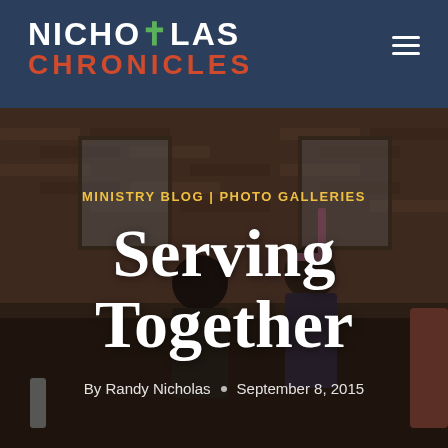NICHOLAS CHRONICLES
[Figure (photo): Outdoor scene showing people sitting on a porch of a brick building, appearing to be engaged in a ministry or community service activity]
MINISTRY BLOG | PHOTO GALLERIES
Serving Together
By Randy Nicholas • September 8, 2015